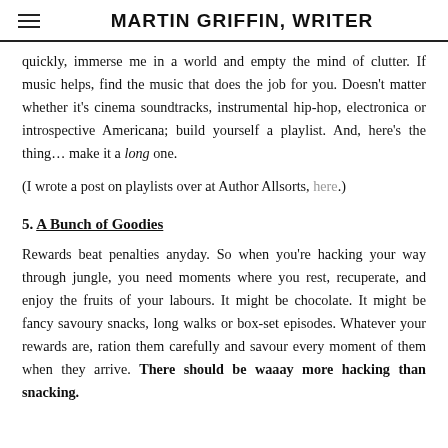MARTIN GRIFFIN, WRITER
quickly, immerse me in a world and empty the mind of clutter. If music helps, find the music that does the job for you. Doesn't matter whether it's cinema soundtracks, instrumental hip-hop, electronica or introspective Americana; build yourself a playlist. And, here's the thing… make it a long one.
(I wrote a post on playlists over at Author Allsorts, here.)
5. A Bunch of Goodies
Rewards beat penalties anyday. So when you're hacking your way through jungle, you need moments where you rest, recuperate, and enjoy the fruits of your labours. It might be chocolate. It might be fancy savoury snacks, long walks or box-set episodes. Whatever your rewards are, ration them carefully and savour every moment of them when they arrive. There should be waaay more hacking than snacking.